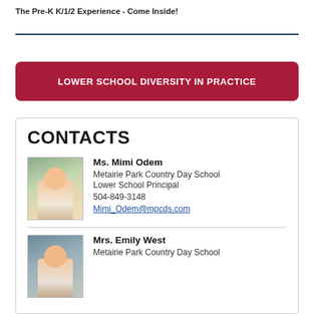The Pre-K K/1/2 Experience - Come Inside!
LOWER SCHOOL DIVERSITY IN PRACTICE
CONTACTS
Ms. Mimi Odem
Metairie Park Country Day School
Lower School Principal
504-849-3148
Mimi_Odem@mpcds.com
Mrs. Emily West
Metairie Park Country Day School